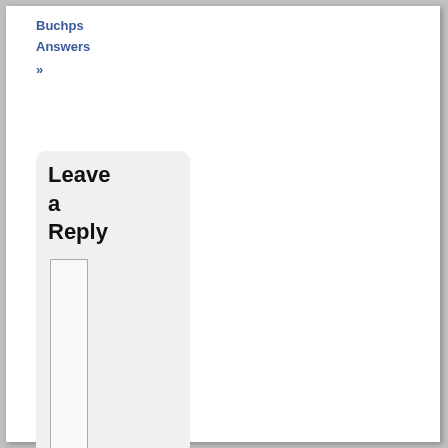Buchps
Answers
»
Leave a Reply
[Figure (other): Comment text input box with resize handle]
You can use these HTML